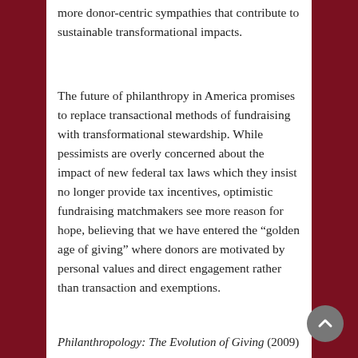more donor-centric sympathies that contribute to sustainable transformational impacts.
The future of philanthropy in America promises to replace transactional methods of fundraising with transformational stewardship. While pessimists are overly concerned about the impact of new federal tax laws which they insist no longer provide tax incentives, optimistic fundraising matchmakers see more reason for hope, believing that we have entered the “golden age of giving” where donors are motivated by personal values and direct engagement rather than transaction and exemptions.
Philanthropology: The Evolution of Giving (2009)